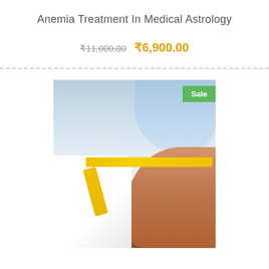Anemia Treatment In Medical Astrology
₹11,000.00 ₹6,900.00
[Figure (photo): A doctor in a white coat measuring the belly of an overweight person with a yellow tape measure. A green 'Sale' badge is visible in the top right corner of the image.]